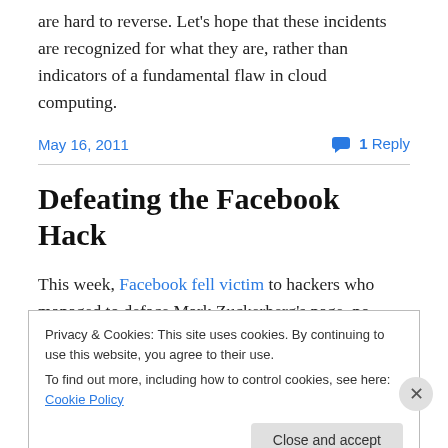are hard to reverse. Let’s hope that these incidents are recognized for what they are, rather than indicators of a fundamental flaw in cloud computing.
May 16, 2011 • 1 Reply
Defeating the Facebook Hack
This week, Facebook fell victim to hackers who managed to deface Mark Zuckerberg’s page, no doubt earning the
Privacy & Cookies: This site uses cookies. By continuing to use this website, you agree to their use.
To find out more, including how to control cookies, see here: Cookie Policy
Close and accept